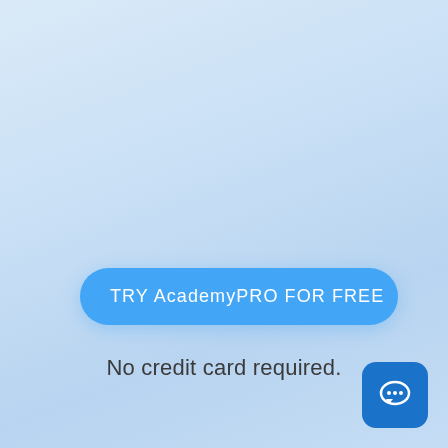[Figure (other): Blue rounded button with text 'TRY AcademyPRO FOR FREE']
No credit card required.
[Figure (illustration): Blue rounded square icon with a speech bubble / chat icon in white]